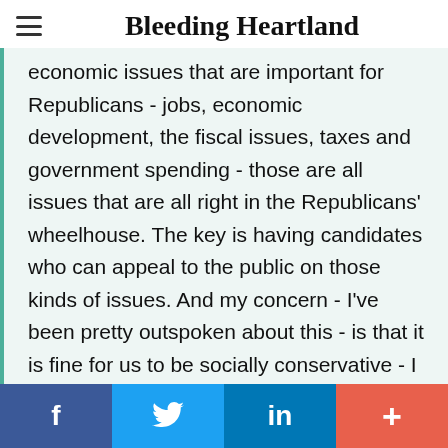Bleeding Heartland
economic issues that are important for Republicans - jobs, economic development, the fiscal issues, taxes and government spending - those are all issues that are all right in the Republicans' wheelhouse. The key is having candidates who can appeal to the public on those kinds of issues. And my concern - I've been pretty outspoken about this - is that it is fine for us to be socially conservative - I
f  [Twitter bird]  in  +